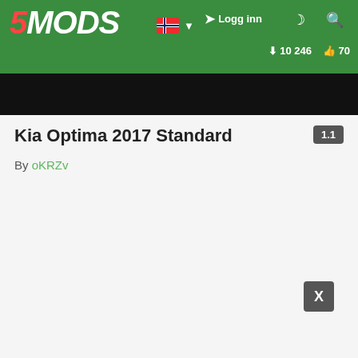5MODS — Logg inn — 10 246 downloads — 70 likes
[Figure (screenshot): Dark/black image strip showing a vehicle mod preview thumbnail]
Kia Optima 2017 Standard — version 1.1
By oKRZv
[Figure (other): X close button (dark grey square with white X)]